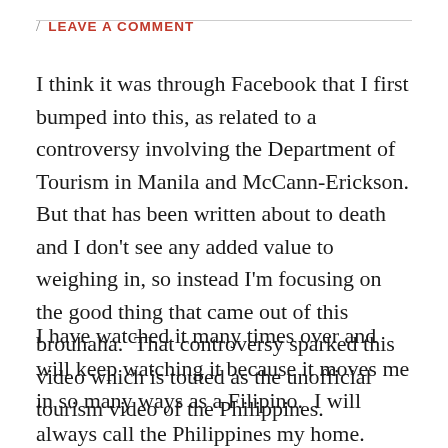/ LEAVE A COMMENT
I think it was through Facebook that I first bumped into this, as related to a controversy involving the Department of Tourism in Manila and McCann-Erickson. But that has been written about to death and I don't see any added value to weighing in, so instead I'm focusing on the good thing that came out of this brouhaha.  That controversy sparked this video which is touted as the unofficial tourism video of the Philippines.
I have watched it many times over and will keep watching it because it moves me in so many ways as a Filipino.  I will always call the Philippines my home.